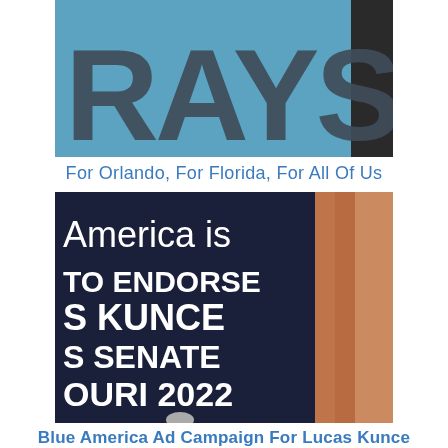[Figure (photo): Cropped campaign image showing large bold text 'RAYSO' on a teal/blue background, with partial view of a person on the right edge.]
For Orlando, For Florida, For All Of Us
[Figure (photo): Blue America campaign ad image with text: 'America is TO ENDORSE S KUNCE S SENATE OURI 2022' with a smiling person on the right side and small text 'eAmerica .ly/2OK8hGo not authorized by any candidate or candidate's committee' and a Capitol building illustration.]
Blue America Ad Campaign For Lucas Kunce